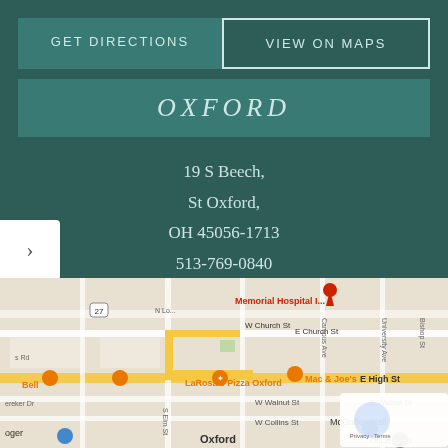GET DIRECTIONS
VIEW ON MAPS
OXFORD
19 S Beech,
St Oxford,
OH 45056-1713
513-769-0840
By Appointment Only
[Figure (map): Google Maps screenshot showing Oxford, OH area with streets including W Church St, E High St, E Walnut St, E Church St, W Walnut St, W Collins St and landmarks including Memorial Hospital, LaRosa's Pizza Oxford, Mac & Joe's, McGuffey Hall, along with map pins and navigation UI elements.]